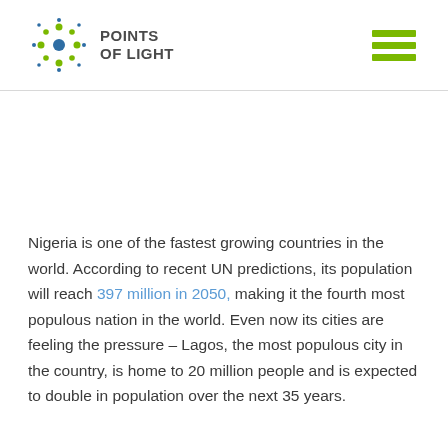POINTS OF LIGHT
Nigeria is one of the fastest growing countries in the world. According to recent UN predictions, its population will reach 397 million in 2050, making it the fourth most populous nation in the world. Even now its cities are feeling the pressure – Lagos, the most populous city in the country, is home to 20 million people and is expected to double in population over the next 35 years.